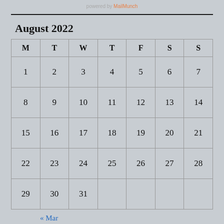powered by MailMunch
August 2022
| M | T | W | T | F | S | S |
| --- | --- | --- | --- | --- | --- | --- |
| 1 | 2 | 3 | 4 | 5 | 6 | 7 |
| 8 | 9 | 10 | 11 | 12 | 13 | 14 |
| 15 | 16 | 17 | 18 | 19 | 20 | 21 |
| 22 | 23 | 24 | 25 | 26 | 27 | 28 |
| 29 | 30 | 31 |  |  |  |  |
« Mar